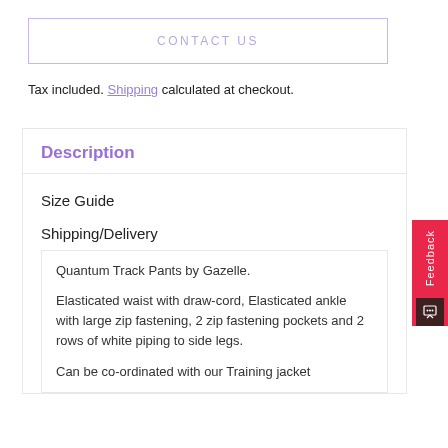CONTACT US
Tax included. Shipping calculated at checkout.
Description
Size Guide
Shipping/Delivery
Quantum Track Pants by Gazelle.
Elasticated waist with draw-cord, Elasticated ankle with large zip fastening, 2 zip fastening pockets and 2 rows of white piping to side legs.
Can be co-ordinated with our Training jacket